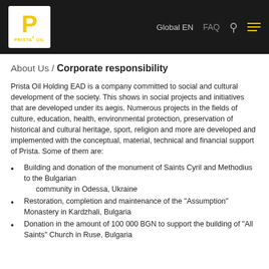[Figure (logo): Prista Oil logo: white P on black background with yellow P letter and 'PRISTA OIL' text below]
Global EN   FAQ   🔍   ≡
About Us / Corporate responsibility
Prista Oil Holding EAD is a company committed to social and cultural development of the society. This shows in social projects and initiatives that are developed under its aegis. Numerous projects in the fields of culture, education, health, environmental protection, preservation of historical and cultural heritage, sport, religion and more are developed and implemented with the conceptual, material, technical and financial support of Prista. Some of them are:
Building and donation of the monument of Saints Cyril and Methodius to the Bulgarian community in Odessa, Ukraine
Restoration, completion and maintenance of the "Assumption" Monastery in Kardzhali, Bulgaria
Donation in the amount of 100 000 BGN to support the building of "All Saints" Church in Ruse, Bulgaria